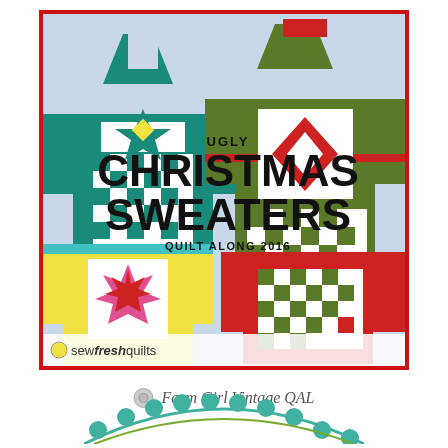[Figure (illustration): Ugly Christmas Sweaters Quilt Along 2016 promotional image by sewfreshquilts. Shows four quilt block sweater designs in teal, olive/green, yellow, and red/green on a light blue background with a red border. Large bold text overlay reads 'UGLY CHRISTMAS SWEATERS QUILT ALONG 2016'. Brand name 'sew fresh quilts' at bottom.]
Farm Girl Vintage QAL
[Figure (illustration): Decorative teal scalloped arc/border element at the bottom of the page.]